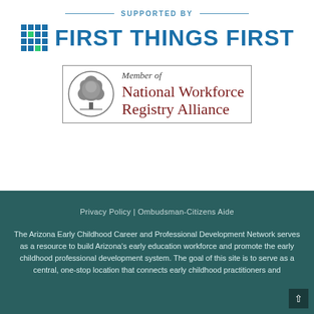SUPPORTED BY
[Figure (logo): First Things First logo with grid/hashtag icon in blue and green and bold blue text 'FIRST THINGS FIRST']
[Figure (logo): Member of National Workforce Registry Alliance logo with tree-in-circle emblem and dark red serif text]
Privacy Policy | Ombudsman-Citizens Aide
The Arizona Early Childhood Career and Professional Development Network serves as a resource to build Arizona's early education workforce and promote the early childhood professional development system. The goal of this site is to serve as a central, one-stop location that connects early childhood practitioners and